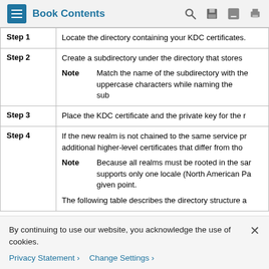Book Contents
| Step | Description |
| --- | --- |
| Step 1 | Locate the directory containing your KDC certificates. |
| Step 2 | Create a subdirectory under the directory that stores...
Note: Match the name of the subdirectory with the... uppercase characters while naming the subd... |
| Step 3 | Place the KDC certificate and the private key for the r... |
| Step 4 | If the new realm is not chained to the same service pr... additional higher-level certificates that differ from tho...
Note: Because all realms must be rooted in the sar... supports only one locale (North American Pa... given point.
The following table describes the directory structure a... |
By continuing to use our website, you acknowledge the use of cookies.
Privacy Statement > Change Settings >